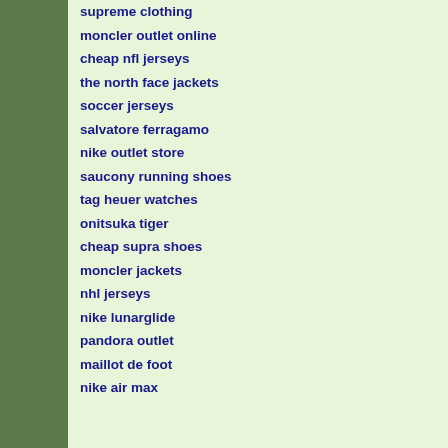supreme clothing
moncler outlet online
cheap nfl jerseys
the north face jackets
soccer jerseys
salvatore ferragamo
nike outlet store
saucony running shoes
tag heuer watches
onitsuka tiger
cheap supra shoes
moncler jackets
nhl jerseys
nike lunarglide
pandora outlet
maillot de foot
nike air max